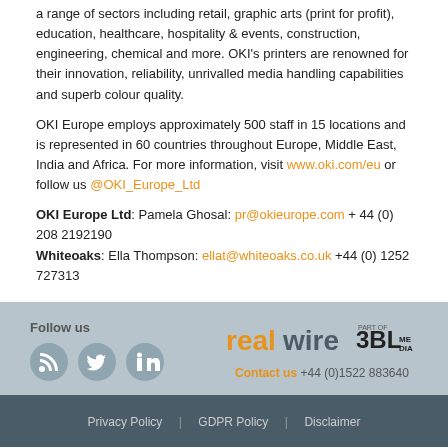a range of sectors including retail, graphic arts (print for profit), education, healthcare, hospitality & events, construction, engineering, chemical and more. OKI's printers are renowned for their innovation, reliability, unrivalled media handling capabilities and superb colour quality.
OKI Europe employs approximately 500 staff in 15 locations and is represented in 60 countries throughout Europe, Middle East, India and Africa. For more information, visit www.oki.com/eu or follow us @OKI_Europe_Ltd
OKI Europe Ltd: Pamela Ghosal: pr@okieurope.com + 44 (0) 208 2192190
Whiteoaks: Ella Thompson: ellat@whiteoaks.co.uk +44 (0) 1252 727313
[Figure (logo): RealWire logo and 3BL Media 'Part of' badge, with Contact us +44 (0)1522 883640]
Privacy Policy | GDPR Policy | Disclaimer